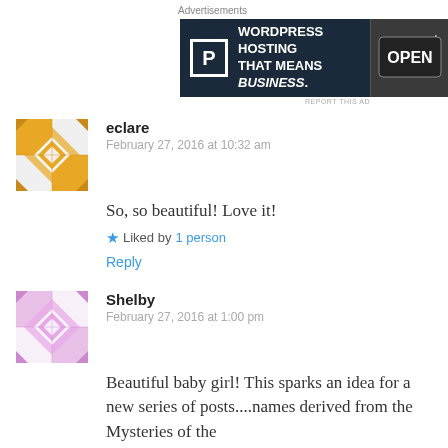Advertisements
[Figure (screenshot): WordPress hosting advertisement banner: dark navy background with white 'P' logo box, text 'WORDPRESS HOSTING THAT MEANS BUSINESS.' and a photo of an Open sign on the right]
REPORT THIS AD
eclare
February 27, 2016 at 10:32 am
So, so beautiful! Love it!
★ Liked by 1 person
Reply
Shelby
February 27, 2016 at 1:00 pm
Beautiful baby girl! This sparks an idea for a new series of posts....names derived from the Mysteries of the Rosary! My husband says his favorite...